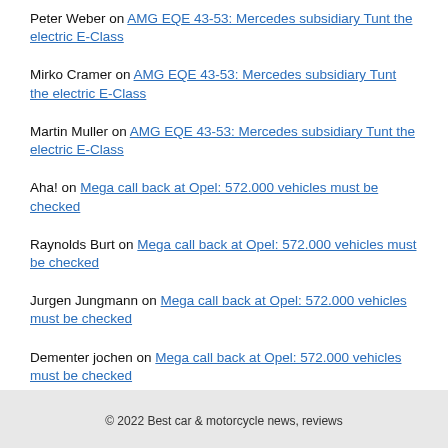Peter Weber on AMG EQE 43-53: Mercedes subsidiary Tunt the electric E-Class
Mirko Cramer on AMG EQE 43-53: Mercedes subsidiary Tunt the electric E-Class
Martin Muller on AMG EQE 43-53: Mercedes subsidiary Tunt the electric E-Class
Aha! on Mega call back at Opel: 572.000 vehicles must be checked
Raynolds Burt on Mega call back at Opel: 572.000 vehicles must be checked
Jurgen Jungmann on Mega call back at Opel: 572.000 vehicles must be checked
Dementer jochen on Mega call back at Opel: 572.000 vehicles must be checked
© 2022 Best car & motorcycle news, reviews